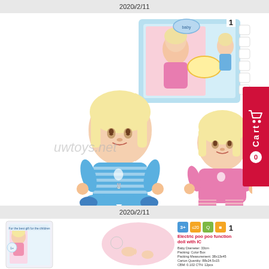2020/2/11
[Figure (photo): Baby dolls product listing showing two dolls: one in blue striped outfit, one in pink striped outfit, plus product box image. Watermark: uwtoys.net]
2020/2/11
[Figure (photo): Second product listing showing baby doll in pink box packaging, doll with accessories, and product info: Electric poo poo function doll with IC. Baby Diameter: 33cm, Packing: Color Box, Packing Measurement: 38x13x45, Carton Quantity: 88x24.5x15, CBM: 0.102, CTN: 12pcs, Country of origin: China]
1
1